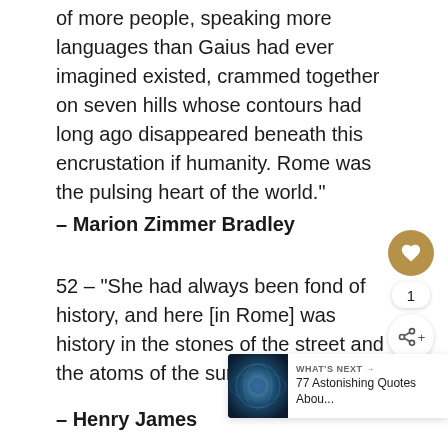of more people, speaking more languages than Gaius had ever imagined existed, crammed together on seven hills whose contours had long ago disappeared beneath this encrustation if humanity. Rome was the pulsing heart of the world."
– Marion Zimmer Bradley
52 – “She had always been fond of history, and here [in Rome] was history in the stones of the street and the atoms of the sunshine."
– Henry James